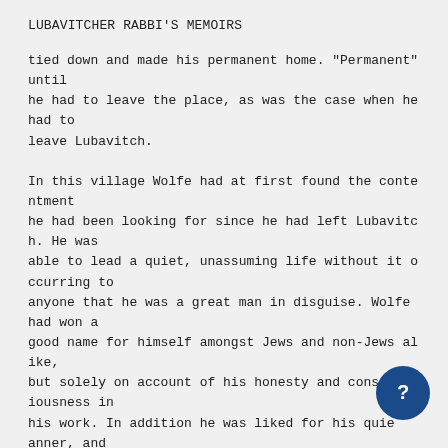LUBAVITCHER RABBI'S MEMOIRS
tied down and made his permanent home. "Permanent" until
he had to leave the place, as was the case when he had to
leave Lubavitch.

In this village Wolfe had at first found the contentment
he had been looking for since he had left Lubavitch. He was
able to lead a quiet, unassuming life without it occurring to
anyone that he was a great man in disguise. Wolfe had won a
good name for himself amongst Jews and non-Jews alike,
but solely on account of his honesty and conscientiousness in
his work. In addition he was liked for his quiet manner, and
for never gossiping about people. He had no quarle
with